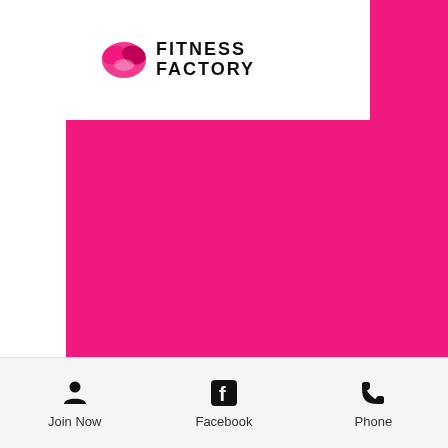[Figure (logo): Fitness Factory logo with pink leaf/swoosh icon and bold text FITNESS FACTORY]
[Figure (illustration): Large hot pink / magenta background block filling the main body of the page]
Join Now
Facebook
Phone